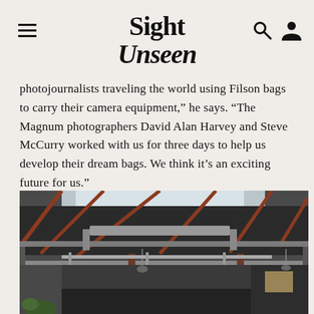Sight Unseen
photojournalists traveling the world using Filson bags to carry their camera equipment,” he says. “The Magnum photographers David Alan Harvey and Steve McCurry worked with us for three days to help us develop their dream bags. We think it’s an exciting future for us.”
[Figure (photo): Interior of an industrial warehouse space with exposed red steel trusses, skylights, ductwork, and dark ceiling panels. The space has concrete floors and brick columns.]